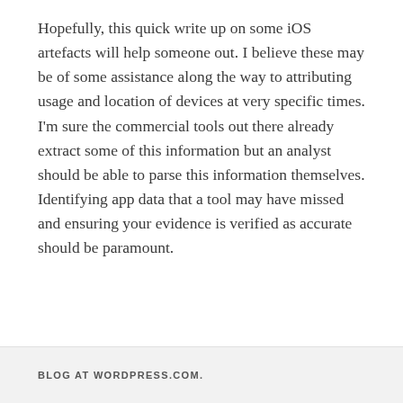Hopefully, this quick write up on some iOS artefacts will help someone out. I believe these may be of some assistance along the way to attributing usage and location of devices at very specific times. I'm sure the commercial tools out there already extract some of this information but an analyst should be able to parse this information themselves. Identifying app data that a tool may have missed and ensuring your evidence is verified as accurate should be paramount.
BLOG AT WORDPRESS.COM.